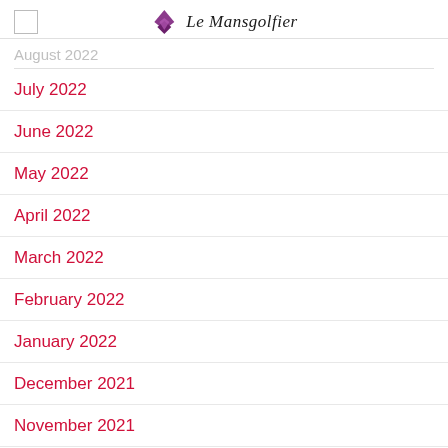Le Mansgolfier
August 2022
July 2022
June 2022
May 2022
April 2022
March 2022
February 2022
January 2022
December 2021
November 2021
October 2021